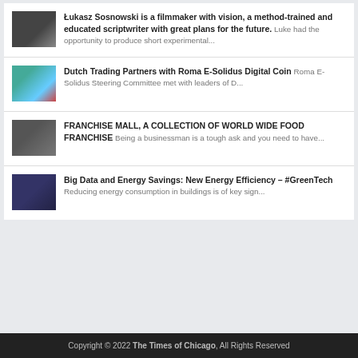Łukasz Sosnowski is a filmmaker with vision, a method-trained and educated scriptwriter with great plans for the future. Luke had the opportunity to produce short experimental...
Dutch Trading Partners with Roma E-Solidus Digital Coin Roma E-Solidus Steering Committee met with leaders of D...
FRANCHISE MALL, A COLLECTION OF WORLD WIDE FOOD FRANCHISE Being a businessman is a tough ask and you need to have...
Big Data and Energy Savings: New Energy Efficiency – #GreenTech Reducing energy consumption in buildings is of key sign...
Copyright © 2022 The Times of Chicago, All Rights Reserved